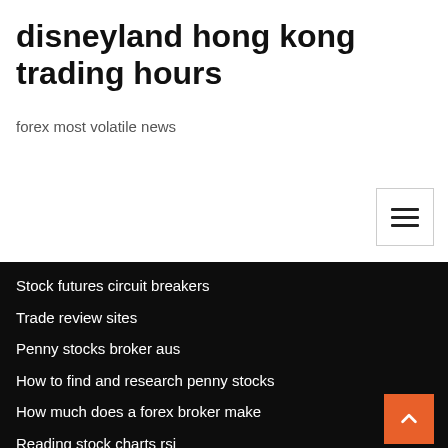disneyland hong kong trading hours
forex most volatile news
Stock futures circuit breakers
Trade review sites
Penny stocks broker aus
How to find and research penny stocks
How much does a forex broker make
Reading stock charts rsi
Czarina foreign exchange rate usd to php
10year brent crude oil price chart
Can penny stocks go big